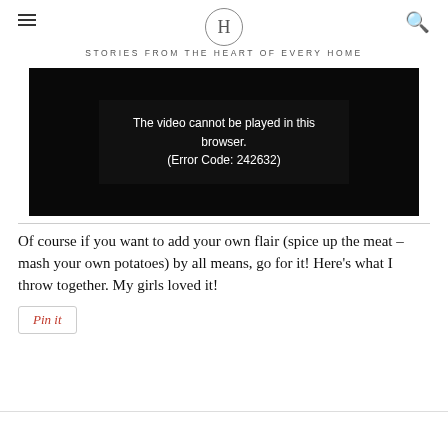H — STORIES FROM THE HEART OF EVERY HOME
[Figure (screenshot): Video player showing error message: 'The video cannot be played in this browser. (Error Code: 242632)' on a black background]
Of course if you want to add your own flair (spice up the meat – mash your own potatoes) by all means, go for it! Here's what I throw together. My girls loved it!
[Figure (other): Pin it button with red italic text inside a bordered box]